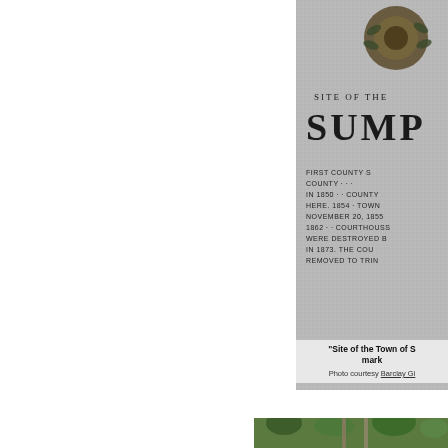[Figure (photo): Close-up photograph of a granite historical marker stone. Visible text on the stone reads: 'SITE OF THE' [top], 'SUMP' [large letters, partially cut off], then smaller text: 'FIRST COUNTY S... COUNTY ... IN 1850 · · COUNTY... HERE. 1854 · TOWN... NOVEMBER 20, 1855... 1862 · · COURTHOUSS... WERE DESTROYED B... IN 1873. THE COU... REMOVED TO TRIN...' A bronze emblem/seal is at the top of the marker.]
"Site of the Town of S... mark...
Photo courtesy Barclay Gi...
[Figure (photo): Partial photograph showing pine trees and vegetation, appears to be an outdoor scene related to the historical site.]